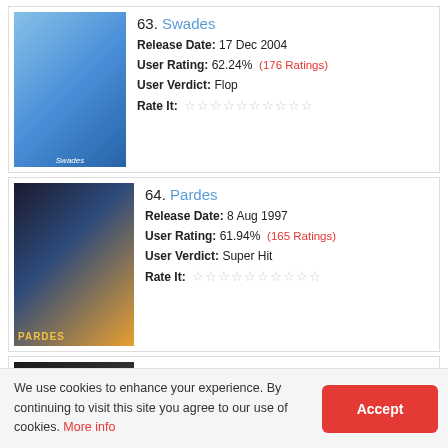63. Swades - Release Date: 17 Dec 2004, User Rating: 62.24% (176 Ratings), User Verdict: Flop, Rate It:
64. Pardes - Release Date: 8 Aug 1997, User Rating: 61.94% (165 Ratings), User Verdict: Super Hit, Rate It:
65. Raajneeti - Release Date: 4 Jun 2010, User Rating: 61.89% (61 Ratings), User Verdict: Super Hit, Rate It:
66. Golmaal 3 - Release Date: 5 Nov 2010
We use cookies to enhance your experience. By continuing to visit this site you agree to our use of cookies. More info